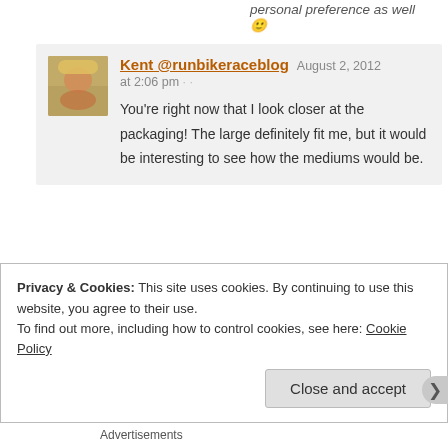personal preference as well 🙂
Kent @runbikeraceblog August 2, 2012 at 2:06 pm · · You're right now that I look closer at the packaging! The large definitely fit me, but it would be interesting to see how the mediums would be.
Dave August 2, 2012 at 2:02 pm · · ^^ WP login was confused, that was me again
Privacy & Cookies: This site uses cookies. By continuing to use this website, you agree to their use.
To find out more, including how to control cookies, see here: Cookie Policy
Close and accept
Advertisements